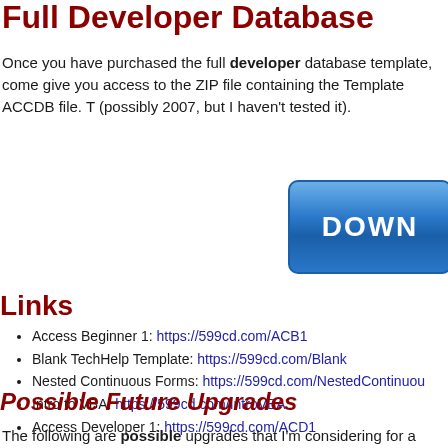Full Developer Database
Once you have purchased the full developer database template, come give you access to the ZIP file containing the Template ACCDB file. T (possibly 2007, but I haven't tested it).
[Figure (illustration): Blue download button partially visible on the right side]
Links
Access Beginner 1: https://599cd.com/ACB1
Blank TechHelp Template: https://599cd.com/Blank
Nested Continuous Forms: https://599cd.com/NestedContinuou
Intro to VBA: https://599cd.com/IntroVBA
Access Developer 1: https://599cd.com/ACD1
Possible Future Upgrades
The following are possible upgrades that I'm considering for a future v